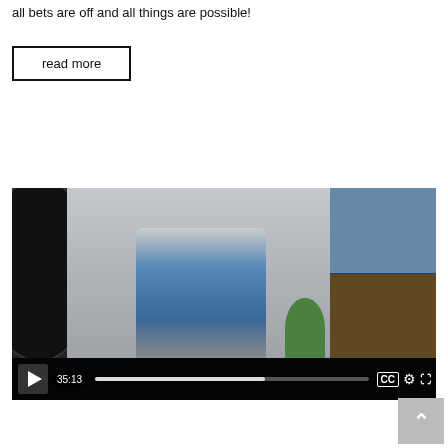all bets are off and all things are possible!
read more
[Figure (screenshot): Video player screenshot showing a man in glasses and denim jacket, a vinyl record on the left, a collage panel on the right, and a video control bar at the bottom with play button, timestamp 35:13, progress bar, CC, settings, and fullscreen icons.]
^